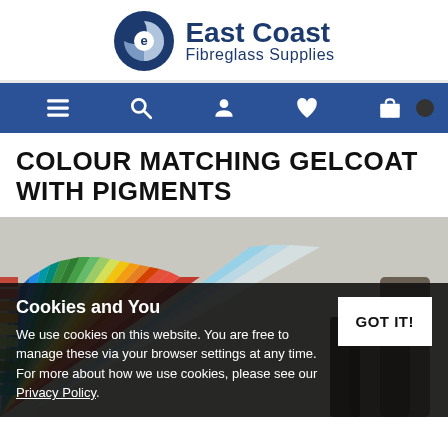[Figure (logo): East Coast Fibreglass Supplies logo with circular icon]
[Figure (screenshot): Navigation bar with hamburger menu, search, account, wishlist, and cart icons on blue background]
COLOUR MATCHING GELCOAT WITH PIGMENTS
[Figure (photo): Color swatch fan with spectrum of colors from red/orange through yellow/green to blue, with a dark cookie consent overlay at bottom]
Cookies and You
We use cookies on this website. You are free to manage these via your browser settings at any time. For more about how we use cookies, please see our Privacy Policy.